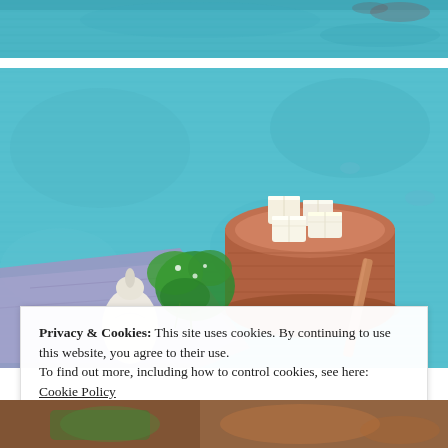[Figure (photo): Top strip of a photo showing a turquoise/teal painted wooden surface]
[Figure (photo): Food photography: a clay/terracotta pot filled with cubed white paneer cheese, on a purple/lavender cloth, with fresh green herbs (cilantro/coriander), a white vegetable (possibly radish or turnip), and a wooden stick/chopstick, all on a turquoise painted background]
Privacy & Cookies: This site uses cookies. By continuing to use this website, you agree to their use.
To find out more, including how to control cookies, see here: Cookie Policy
[Figure (photo): Bottom strip of another food photo, partially visible]